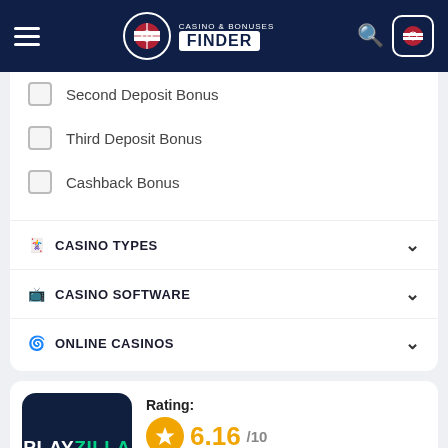Casino & Bonuses Finder
Second Deposit Bonus
Third Deposit Bonus
Cashback Bonus
CASINO TYPES
CASINO SOFTWARE
ONLINE CASINOS
Rating: 6.16/10
Available for players from Liberia